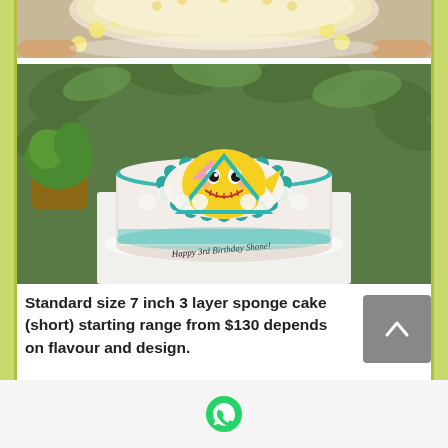[Figure (photo): Top-down partial view of a yellow frosted cake with piped rosette border, held by hands, on a wooden surface]
[Figure (photo): Baby shark themed birthday cake - round cake with teal/blue frosting border and swirl design, yellow baby shark character on top, text reading 'Happy 3rd Birthday Shane!' on the cake board, surrounded by green leaves]
Standard size 7 inch 3 layer sponge cake (short) starting range from $130 depends on flavour and design.
[Figure (other): WhatsApp chat icon in green circle]